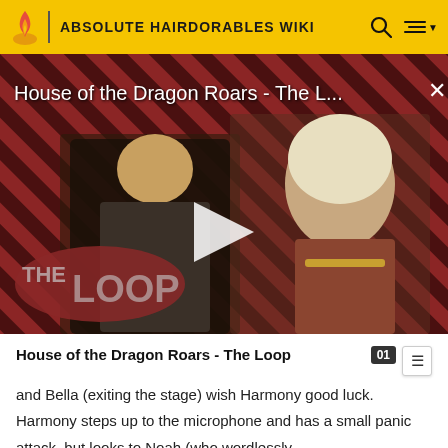ABSOLUTE HAIRDORABLES WIKI
[Figure (screenshot): Video thumbnail for 'House of the Dragon Roars - The L...' showing two characters against a red diagonal striped background with a play button overlay and The Loop logo]
House of the Dragon Roars - The Loop
and Bella (exiting the stage) wish Harmony good luck. Harmony steps up to the microphone and has a small panic attack, but looks to Noah (who wordlessly